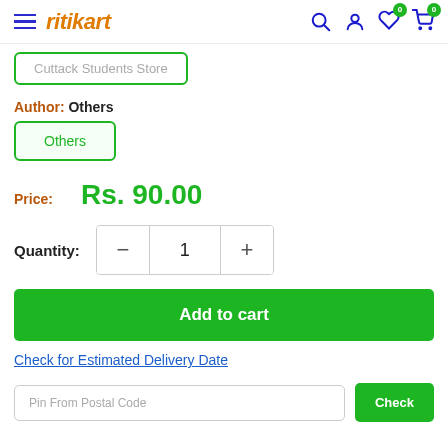ritikart — navigation bar with hamburger, logo, search, account, wishlist (0), cart (0)
Cuttack Students Store
Author: Others
Others
Price: Rs. 90.00
Quantity: 1
Add to cart
Check for Estimated Delivery Date